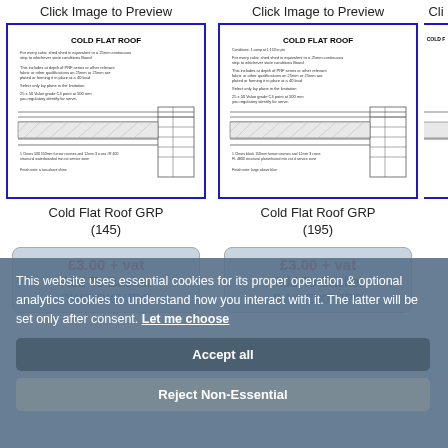Click Image to Preview
[Figure (engineering-diagram): Cold Flat Roof technical drawing thumbnail in blue border]
Cold Flat Roof GRP (145)
£3.00 + vat Add To Basket DWG/DXF/JPG
Click Image to Preview
[Figure (engineering-diagram): Cold Flat Roof technical drawing thumbnail in blue border]
Cold Flat Roof GRP (195)
£3.00 + vat Add To Basket DWG/DXF/JPG
Cli
This website uses essential cookies for its proper operation & optional analytics cookies to understand how you interact with it. The latter will be set only after consent. Let me choose
Accept all
Reject Non-Essential